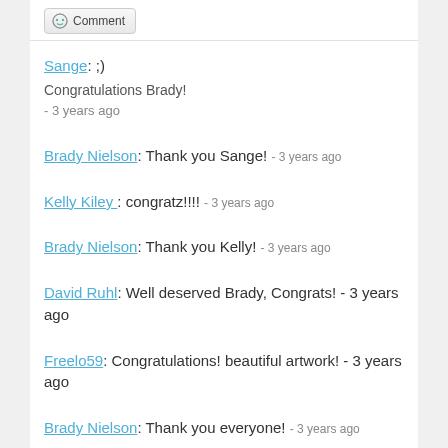[Figure (other): Comment button with icon]
Sange: ;)
Congratulations Brady!
- 3 years ago
Brady Nielson: Thank you Sange! - 3 years ago
Kelly Kiley : congratz!!!! - 3 years ago
Brady Nielson: Thank you Kelly! - 3 years ago
David Ruhl: Well deserved Brady, Congrats! - 3 years ago
Freelo59: Congratulations! beautiful artwork! - 3 years ago
Brady Nielson: Thank you everyone! - 3 years ago